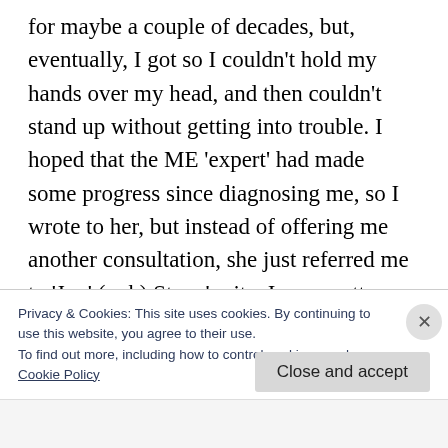for maybe a couple of decades, but, eventually, I got so I couldn't hold my hands over my head, and then couldn't stand up without getting into trouble. I hoped that the ME 'expert' had made some progress since diagnosing me, so I wrote to her, but instead of offering me another consultation, she just referred me to 'Jon' (yuk) Stone's site. I was pretty disgusted at the brush off–esp as a researcher at Hammersmith, I wrote to also backed her
Privacy & Cookies: This site uses cookies. By continuing to use this website, you agree to their use.
To find out more, including how to control cookies, see here:
Cookie Policy